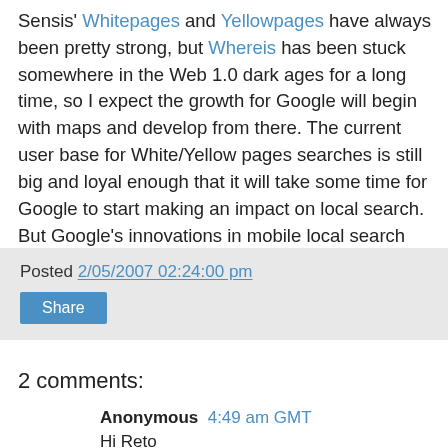Sensis' Whitepages and Yellowpages have always been pretty strong, but Whereis has been stuck somewhere in the Web 1.0 dark ages for a long time, so I expect the growth for Google will begin with maps and develop from there. The current user base for White/Yellow pages searches is still big and loyal enough that it will take some time for Google to start making an impact on local search. But Google's innovations in mobile local search and providing personalised local search should help it win over market share.
Posted 2/05/2007 02:24:00 pm
Share
2 comments:
Anonymous 4:49 am GMT
Hi Reto